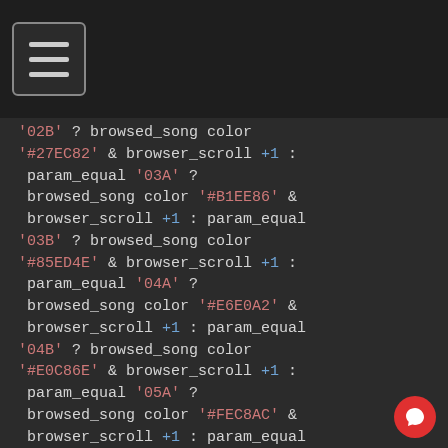[Figure (screenshot): Dark-themed mobile app top bar with hamburger menu icon (three horizontal lines) in a rounded rectangle]
'02B' ? browsed_song color '#27EC82' & browser_scroll +1 : param_equal '03A' ? browsed_song color '#B1EE86' & browser_scroll +1 : param_equal '03B' ? browsed_song color '#85ED4E' & browser_scroll +1 : param_equal '04A' ? browsed_song color '#E6E0A2' & browser_scroll +1 : param_equal '04B' ? browsed_song color '#E0C86E' & browser_scroll +1 : param_equal '05A' ? browsed_song color '#FEC8AC' & browser_scroll +1 : param_equal '05B' ? browsed_song color '#FFA279' & browser_scroll +1 : param_equal '06A' ? browsed_song color '#FFB3BF' & browser_scroll +1 : param_equal '06B' ? browsed_song color